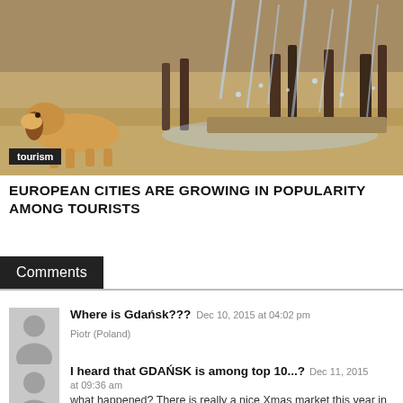[Figure (photo): Photo of a dog near a fountain with water splashing, outdoor urban setting]
tourism
EUROPEAN CITIES ARE GROWING IN POPULARITY AMONG TOURISTS
Comments
Where is Gdańsk???  Dec 10, 2015 at 04:02 pm
Piotr (Poland)
I heard that GDAŃSK is among top 10...?  Dec 11, 2015 at 09:36 am
what happened? There is really a nice Xmas market this year in the city with astonishing architecture